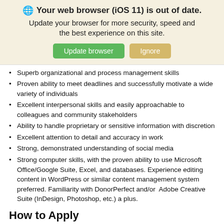[Figure (screenshot): Browser update warning banner with globe icon, bold title 'Your web browser (iOS 11) is out of date.', subtitle text, and two buttons: 'Update browser' (green) and 'Ignore' (tan/gold).]
Superb organizational and process management skills
Proven ability to meet deadlines and successfully motivate a wide variety of individuals
Excellent interpersonal skills and easily approachable to colleagues and community stakeholders
Ability to handle proprietary or sensitive information with discretion
Excellent attention to detail and accuracy in work
Strong, demonstrated understanding of social media
Strong computer skills, with the proven ability to use Microsoft Office/Google Suite, Excel, and databases. Experience editing content in WordPress or similar content management system preferred. Familiarity with DonorPerfect and/or  Adobe Creative Suite (InDesign, Photoshop, etc.) a plus.
How to Apply